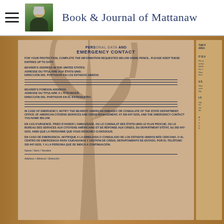Book & Journal of Mattanaw
[Figure (photo): Photograph of a US passport page showing Personal Data and Emergency Contact section, with a cactus shadow overlay on a warm-toned background. The page is open on a wooden surface. The visible page contains fields for bearer's address in the United States, bearer's foreign address, and emergency contact instructions in English, French, and Spanish. Partially visible right-hand page with additional passport authority text.]
PERSONAL DATA AND EMERGENCY CONTACT
FOR YOUR PROTECTION, COMPLETE THE INFORMATION REQUESTED BELOW USING PENCIL. PLEASE KEEP THESE ENTRIES UP TO DATE.
BEARER'S ADDRESS IN THE UNITED STATES: ADRESSE DU TITULAIRE AUX ÉTATS-UNIS: DIRECCIÓN DEL PORTADOR EN LOS ESTADOS UNIDOS:
BEARER'S FOREIGN ADDRESS: ADRESSE DU TITULAIRE À L'ÉTRANGER: DIRECCIÓN DEL PORTADOR EN EL EXTRANJERO:
IN CASE OF EMERGENCY, NOTIFY THE NEAREST AMERICAN EMBASSY OR CONSULATE OF THE STATE DEPARTMENT, OFFICE OF AMERICAN CITIZENS SERVICES AND CRISIS MANAGEMENT, AT 202-647-5225, AND THE EMERGENCY CONTACT YOU NAME BELOW.

EN CAS D'URGENCE, PRIEZ D'AVISER L'AMBASSADE, OU LE CONSULAT DES ÉTATS-UNIS LE PLUS PROCHE, OU LE BUREAU DES SERVICES AUX CITOYENS AMÉRICAINS ET DE RÉPONSE AUX CRISES, DU DEPARTMENT D'ÉTAT, AU 202-647-5225, AINSI QUE LA PERSONNE QUE VOUS DÉSIGNEZ CI-DESSOUS.

EN CASO DE EMERGENCIA, NOTIFIQUE A LA EMBAJADA O CONSULADO DE LOS ESTADOS UNIDOS MÁS CERCANO, O AL CENTRO DE EMERGENCIA PARA CIUDADANOS Y GESTIÓN DE CRISIS, DEPARTAMENTO DE ESTADO, POR EL TELÉFONO 202-647-5225, Y A LA PERSONA QUE SE INDICA A CONTINUACIÓN.
Name / Nom / Nombre
Address / Adresse / Dirección